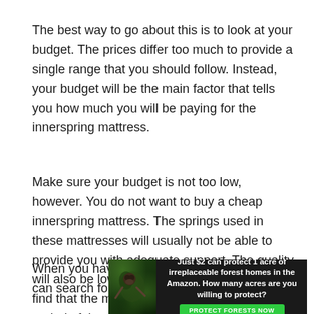The best way to go about this is to look at your budget. The prices differ too much to provide a single range that you should follow. Instead, your budget will be the main factor that tells you how much you will be paying for the innerspring mattress.
Make sure your budget is not too low, however. You do not want to buy a cheap innerspring mattress. The springs used in these mattresses will usually not be able to provide you with adequate support. The quality will also be lower. This means you are likely to find that the mattress does not last for a long period of time.
When you have a budget in mind, then you can search for
[Figure (infographic): Advertisement banner: dark background with forest/jungle imagery and a sloth. Text reads 'Just $2 can protect 1 acre of irreplaceable forest homes in the Amazon. How many acres are you willing to protect?' with a green 'PROTECT FORESTS NOW' button.]